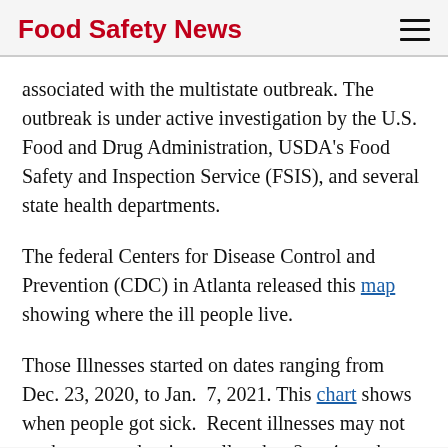Food Safety News
associated with the multistate outbreak. The outbreak is under active investigation by the U.S. Food and Drug Administration, USDA's Food Safety and Inspection Service (FSIS), and several state health departments.
The federal Centers for Disease Control and Prevention (CDC) in Atlanta released this map showing where the ill people live.
Those Illnesses started on dates ranging from Dec. 23, 2020, to Jan.  7, 2021. This chart shows when people got sick.  Recent illnesses may not yet be reported as it usually takes 2 to 4 weeks to link illnesses to an